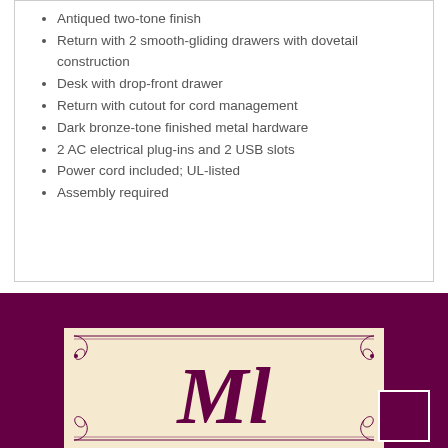Antiqued two-tone finish
Return with 2 smooth-gliding drawers with dovetail construction
Desk with drop-front drawer
Return with cutout for cord management
Dark bronze-tone finished metal hardware
2 AC electrical plug-ins and 2 USB slots
Power cord included; UL-listed
Assembly required
[Figure (logo): Decorative ornamental frame on parchment background with cursive monogram letters in dark purple/maroon color, with scrollwork border design]